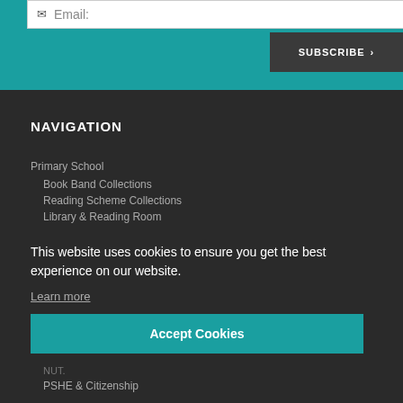Email:
SUBSCRIBE >
NAVIGATION
Primary School
Book Band Collections
Reading Scheme Collections
Library & Reading Room
This website uses cookies to ensure you get the best experience on our website.
Learn more
Accept Cookies
NUT.
PSHE & Citizenship